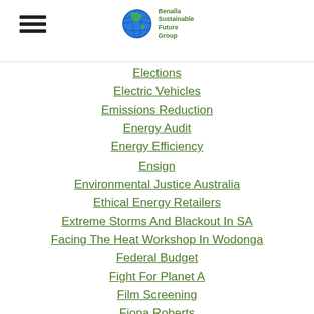Benalla Sustainable Future Group
Elections
Electric Vehicles
Emissions Reduction
Energy Audit
Energy Efficiency
Ensign
Environmental Justice Australia
Ethical Energy Retailers
Extreme Storms And Blackout In SA
Facing The Heat Workshop In Wodonga
Federal Budget
Fight For Planet A
Film Screening
Fiona Roberts
Food Cooperative
Food Security
'Forest Defenders'
Friends Of The Earth
FRV Services
Gecko Clan
General Meeting
Get Up Petition To Govt /